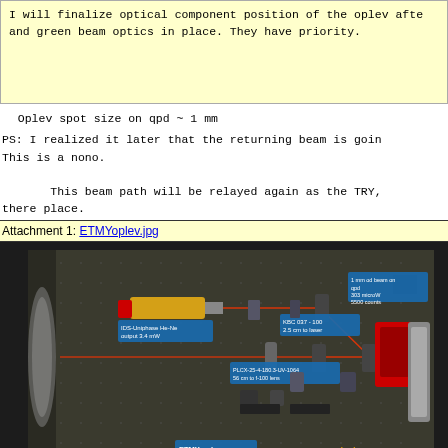I will finalize optical component position of the oplev after and green beam optics in place. They have priority.
Oplev spot size on qpd ~ 1 mm
PS: I realized it later that the returning beam is going through the wrong path. This is a nono.

    This beam path will be relayed again as the TRY, there place.
Attachment 1: ETMYoplev.jpg
[Figure (photo): Laboratory photo of ETMY oplev optical setup on an optical breadboard, dated 05/30/2013. Shows laser components, mirrors, lenses, and a QPD detector with blue annotation labels identifying components including: IDS-Uniphase He-Ne output 3.4 mW, KBC 037-100 2.5 cm to laser, PLCX-25-4-180.3-UV-1064 56 cm to f-100 lens, and 1 mm od beam on qpd 303 microW 5500 counts. Blue label 'ETMY oplev' in lower left, date '05/30/2013' in orange lower right.]